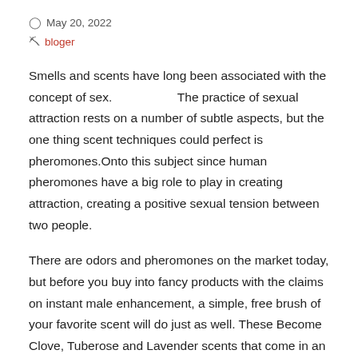May 20, 2022
bloger
Smells and scents have long been associated with the concept of sex.                    The practice of sexual attraction rests on a number of subtle aspects, but the one thing scent techniques could perfect is pheromones.Onto this subject since human pheromones have a big role to play in creating attraction, creating a positive sexual tension between two people.
There are odors and pheromones on the market today, but before you buy into fancy products with the claims on instant male enhancement, a simple, free brush of your favorite scent will do just as well. These Become Clove, Tuberose and Lavender scents that come in an unscented spray bottle and light up the inner mysteries of sexual